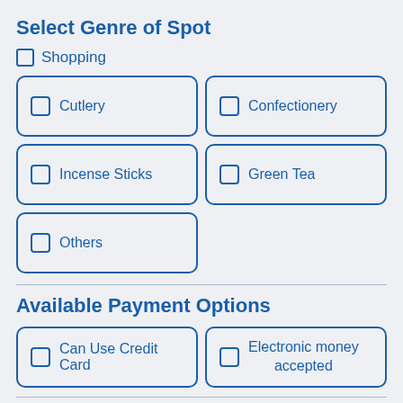Select Genre of Spot
Shopping
Cutlery
Confectionery
Incense Sticks
Green Tea
Others
Available Payment Options
Can Use Credit Card
Electronic money accepted